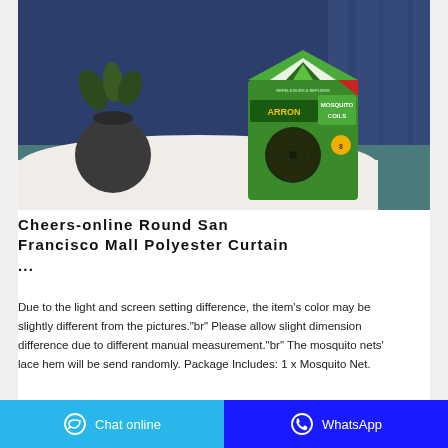[Figure (photo): Product photo showing a green box of Arron Mosquito Coils placed on white fabric/cloth on a teal table, with a dark round vase and plant in the background against a dark blue curtain.]
Cheers-online Round San Francisco Mall Polyester Curtain ...
Due to the light and screen setting difference, the item's color may be slightly different from the pictures."br" Please allow slight dimension difference due to different manual measurement."br" The mosquito nets' lace hem will be send randomly. Package Includes: 1 x Mosquito Net.
Chat online | WhatsApp